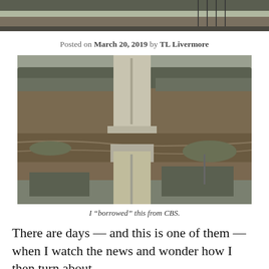[Figure (photo): Aerial view of flooded road and bridge, top portion cropped at top of page]
Posted on March 20, 2019 by TL Livermore
[Figure (photo): Aerial drone photo of a flooded highway/road with a bridge washed out, surrounded by muddy floodwaters and bare trees]
I “borrowed” this from CBS.
There are days — and this is one of them — when I watch the news and wonder how I then turn about